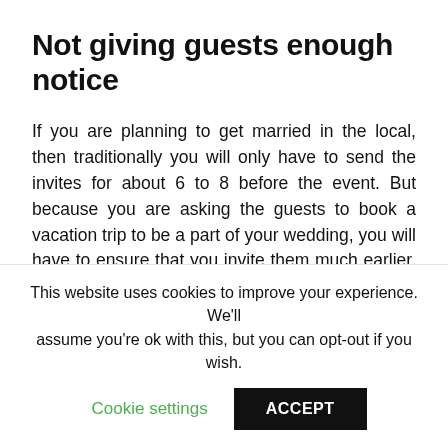Not giving guests enough notice
If you are planning to get married in the local, then traditionally you will only have to send the invites for about 6 to 8 before the event. But because you are asking the guests to book a vacation trip to be a part of your wedding, you will have to ensure that you invite them much earlier, prior 15-20 weeks of notice is essential. Send a save-the-date along with all the wedding locations details.
Having too many DIY projects
This website uses cookies to improve your experience. We'll assume you're ok with this, but you can opt-out if you wish.
Cookie settings  ACCEPT